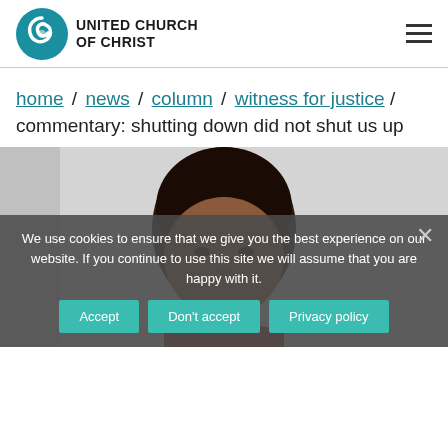[Figure (logo): United Church of Christ logo with blue spiral icon and text]
home / news / column / witness for justice / commentary: shutting down did not shut us up
[Figure (photo): Portrait photo of a woman with short dark hair, partial view]
We use cookies to ensure that we give you the best experience on our website. If you continue to use this site we will assume that you are happy with it.
Accept   Don't accept   Privacy policy